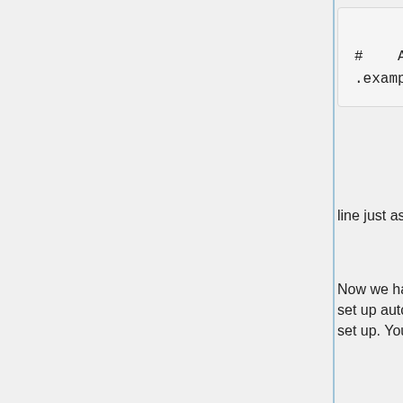[Figure (screenshot): Code block showing: #    Allow from .example.com]
line just as you did for info.conf . Then save the file and quit
Now we have to set your server's fully qualified domain name. Note that if your network was set up automatically via DHCP, your server's fully qualified domain name should already be set up. You can check by running the hostname commands below.
First we have to install the network manager since it is no longer installed by default in Ubuntu. You can use the Synaptic Package Manager to install gnome-network-admin but the